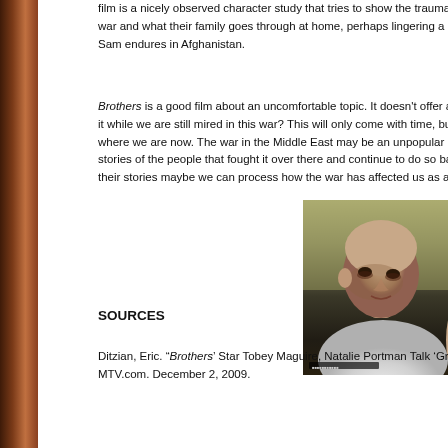film is a nicely observed character study that tries to show the trauma that soldiers who went to war and what their family goes through at home, perhaps lingering a little too long on the horrors Sam endures in Afghanistan.
Brothers is a good film about an uncomfortable topic. It doesn't offer any easy answers about how to process it while we are still mired in this war? This will only come with time, but it shows us a document of where we are now. The war in the Middle East may be an unpopular one, but we need to continue to tell the stories of the people that fought it over there and continue to do so back here on the home front. By honoring their stories maybe we can process how the war has affected us as a country.
[Figure (photo): Close-up photo of a young man with a shaved head wearing a white t-shirt, looking downward with a serious or distressed expression. Another person is partially visible at the right edge. The setting appears to be indoors with a warm background.]
SOURCES
Ditzian, Eric. “Brothers’ Star Tobey Maguire, Natalie Portman Talk ‘Growing Up.’” MTV.com. December 2, 2009.